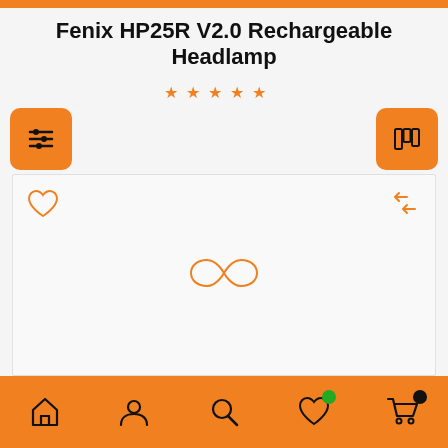Fenix HP25R V2.0 Rechargeable Headlamp
[Figure (screenshot): Mobile e-commerce product page screenshot showing a product listing for Fenix HP25R V2.0 Rechargeable Headlamp with star rating, filter/view toggle buttons, heart and share icons, a loading spinner (infinity loop icon), and an orange bottom navigation bar with home, account, search, wishlist, and cart icons.]